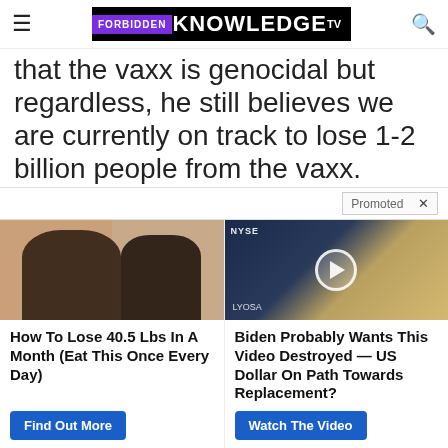FORBIDDEN KNOWLEDGE TV
that the vaxx is genocidal but regardless, he still believes we are currently on track to lose 1-2 billion people from the vaxx.
Promoted  X
[Figure (photo): Advertisement image showing before/after weight loss photos of a woman's back]
How To Lose 40.5 Lbs In A Month (Eat This Once Every Day)
Find Out More
[Figure (screenshot): Advertisement image showing a news video still with a man in a suit at what appears to be NYSE, with a play button overlay]
Biden Probably Wants This Video Destroyed — US Dollar On Path Towards Replacement?
Watch The Video